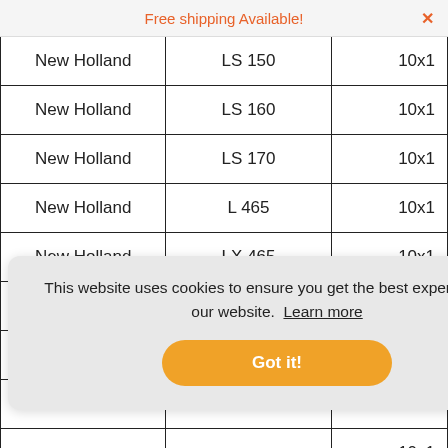Free shipping Available!
| New Holland | LS 150 | 10x1 |
| New Holland | LS 160 | 10x1 |
| New Holland | LS 170 | 10x1 |
| New Holland | L 465 | 10x1 |
| New Holland | LX 465 | 10x1 |
| New Holland | LX 565 | 10x1 |
|  |  | 10x1 |
|  |  | 10x1 |
|  |  | 10x1 |
This website uses cookies to ensure you get the best experience on our website. Learn more
Got it!